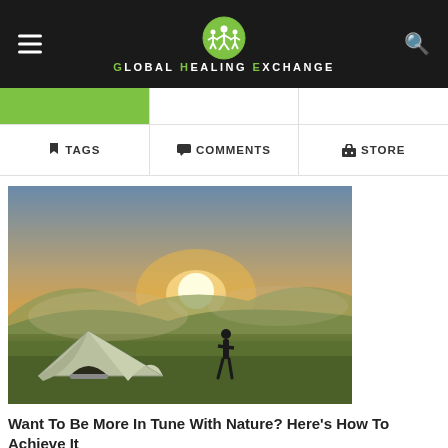Global Healing Exchange
TAGS   COMMENTS   STORE
[Figure (photo): A person standing on a green hillside at sunset with a camping tent in the foreground and mountains in the background.]
Want To Be More In Tune With Nature? Here's How To Achieve It
Being in tune with nature comes with